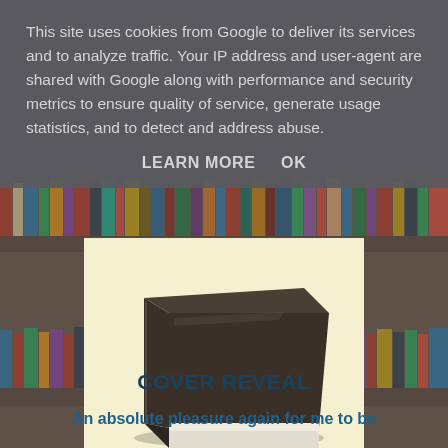[Figure (illustration): Bookshelf background with colorful book spines, muted/faded appearance]
This site uses cookies from Google to deliver its services and to analyze traffic. Your IP address and user-agent are shared with Google along with performance and security metrics to ensure quality of service, generate usage statistics, and to detect and address abuse.
LEARN MORE    OK
[Figure (illustration): A dark brown hardcover book lying flat on a light yellow background]
COVER REVEAL
An absolute pleasure again for me to be